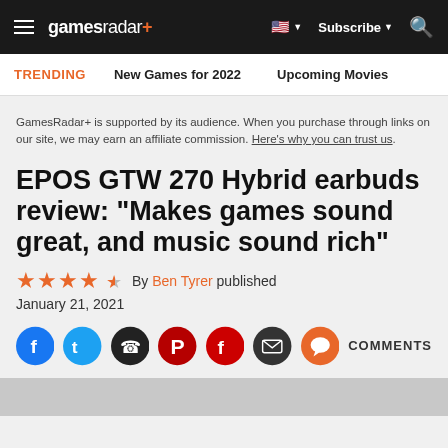gamesradar+ — Subscribe — Search
TRENDING   New Games for 2022   Upcoming Movies
GamesRadar+ is supported by its audience. When you purchase through links on our site, we may earn an affiliate commission. Here's why you can trust us.
EPOS GTW 270 Hybrid earbuds review: "Makes games sound great, and music sound rich"
★★★★½  By Ben Tyrer published
January 21, 2021
COMMENTS